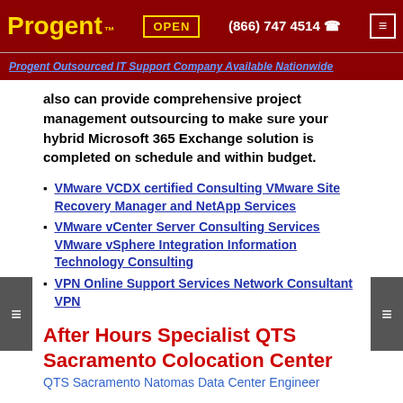Progent™  OPEN  (866) 747 4514  ☎
Progent Outsourced IT Support Company Available Nationwide
also can provide comprehensive project management outsourcing to make sure your hybrid Microsoft 365 Exchange solution is completed on schedule and within budget.
VMware VCDX certified Consulting VMware Site Recovery Manager and NetApp Services
VMware vCenter Server Consulting Services VMware vSphere Integration Information Technology Consulting
VPN Online Support Services Network Consultant VPN
After Hours Specialist QTS Sacramento Colocation Center
QTS Sacramento Natomas Data Center Engineer
The QTS Colocation Center is situated in the seismically-stable Natomas area of Sacramento, CA. If you are currently utilizing the QTS data center as a colocation facility or if you are planning on migrating your main or offsite backup